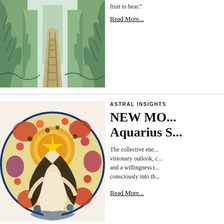[Figure (illustration): Art nouveau style illustration of a forest path with tall stylized trees in green and tan tones, railway tracks receding into the distance]
fruit to bear."
Read More...
ASTRAL INSIGHTS
NEW MO... Aquarius S...
The collective ene... visionary outlook, c... and a willingness t... consciously into th...
Read More...
[Figure (illustration): Circular medallion art nouveau illustration of a female figure with flowing hair and floral decorative border in orange, blue, purple and gold tones]